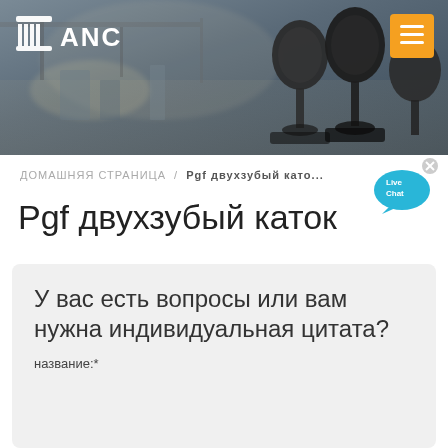[Figure (photo): Header banner with blurred industrial/factory background and microphones on the right side. ANC logo with column icon on the left. Orange hamburger menu button top right.]
ДОМАШНЯЯ СТРАНИЦА / Pgf двухзубый каток
Pgf двухзубый каток
У вас есть вопросы или вам нужна индивидуальная цитата?
название:*